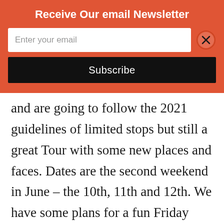Receive Our email Newsletter
and are going to follow the 2021 guidelines of limited stops but still a great Tour with some new places and faces. Dates are the second weekend in June – the 10th, 11th and 12th. We have some plans for a fun Friday night start and we are open to suggestions on stops for the tour. This year we will again be taking the checks/payments for the tour in two parts: one for the Tour that always goes on rain or shine.